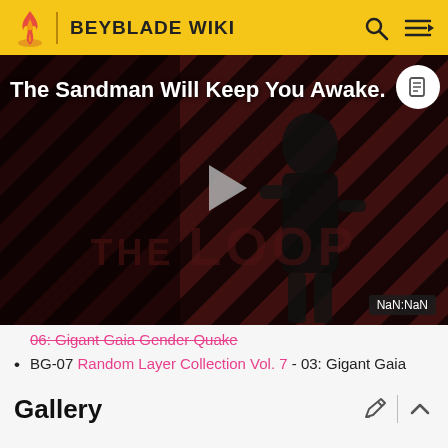BEYBLADE WIKI
[Figure (screenshot): Video thumbnail with diagonal stripe background (dark red/black stripes), a figure in dark clothing, play button overlay, 'THE LOOP' watermark text, and 'NaN:NaN' timer badge. Title text reads 'The Sandman Will Keep You Awake.']
06: Gigant Gaia Gender Quake
BG-07 Random Layer Collection Vol. 7 - 03: Gigant Gaia
Gallery